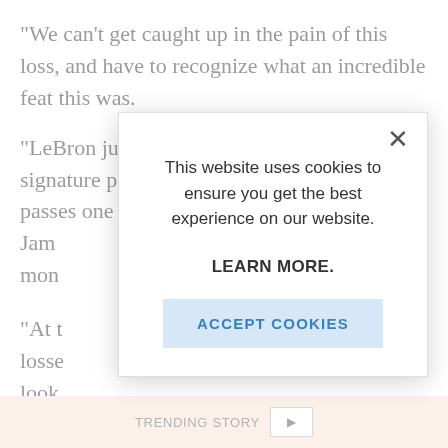"We can't get caught up in the pain of this loss, and have to recognize what an incredible feat this was.
"LeBron just attacked the game tonight. Just a signature performance in a game where he passes one
Jam mon
"At t losse look sepa
"We
[Figure (screenshot): Cookie consent modal overlay on a news article page. The modal contains the text 'This website uses cookies to ensure you get the best experience on our website.' followed by a bold 'LEARN MORE.' link and an 'ACCEPT COOKIES' button. A close (X) button appears in the top-right corner of the modal.]
ACCEPT COOKIES